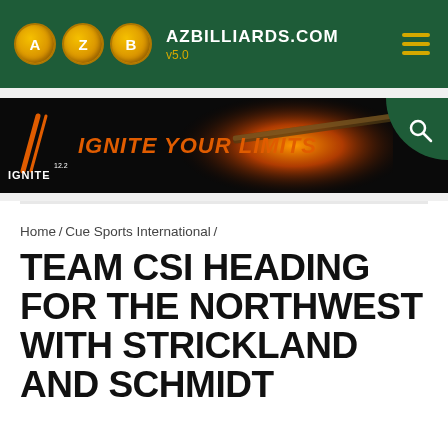AZBILLIARDS.COM v5.0
[Figure (illustration): IGNITE 12.2 advertisement banner with 'IGNITE YOUR LIMITS' tagline on dark background with flame and cue image]
Home / Cue Sports International /
TEAM CSI HEADING FOR THE NORTHWEST WITH STRICKLAND AND SCHMIDT